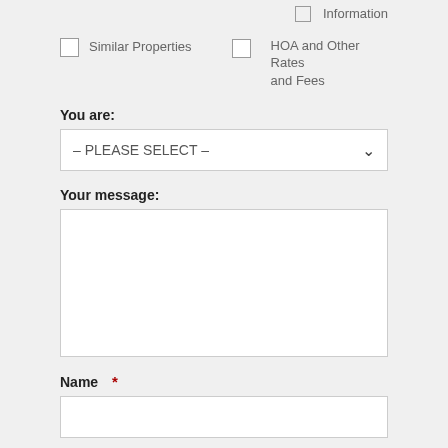Information
Similar Properties
HOA and Other Rates and Fees
You are:
– PLEASE SELECT –
Your message:
Name *
Email *